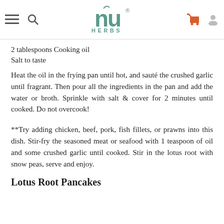nu HERBS
2 tablespoons Cooking oil
Salt to taste
Heat the oil in the frying pan until hot, and sauté the crushed garlic until fragrant. Then pour all the ingredients in the pan and add the water or broth. Sprinkle with salt & cover for 2 minutes until cooked. Do not overcook!
**Try adding chicken, beef, pork, fish fillets, or prawns into this dish. Stir-fry the seasoned meat or seafood with 1 teaspoon of oil and some crushed garlic until cooked. Stir in the lotus root with snow peas, serve and enjoy.
Lotus Root Pancakes